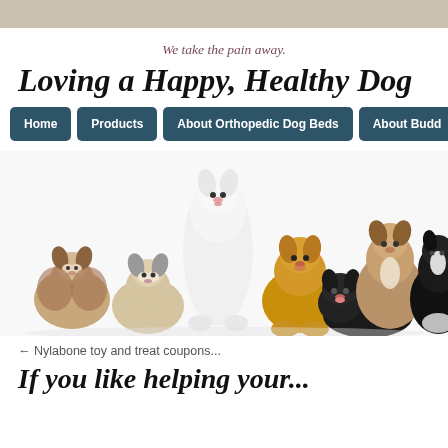We take the pain away.
Loving a Happy, Healthy Dog
Home | Products | About Orthopedic Dog Beds | About Budd...
[Figure (photo): Group of seven dogs of various breeds sitting and lying together on a white background, including Shelties, a white Spitz, a golden Labrador, a black Lab, and a black and white dog.]
← Nylabone toy and treat coupons...
If you like helping your...